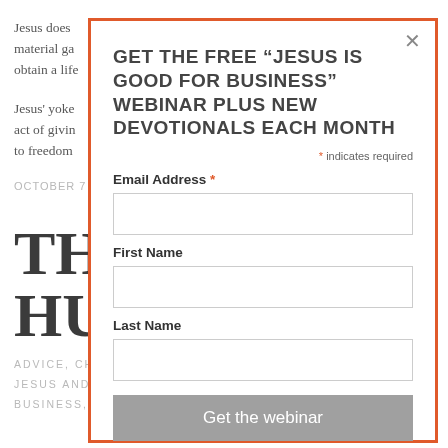Jesus does material ga obtain a life
Jesus' yoke act of givin to freedom
OCTOBER 7
THE HUST
ADVICE, CH JESUS AND B BUSINESS, SU
GET THE FREE "JESUS IS GOOD FOR BUSINESS" WEBINAR PLUS NEW DEVOTIONALS EACH MONTH
* indicates required
Email Address *
First Name
Last Name
Get the webinar